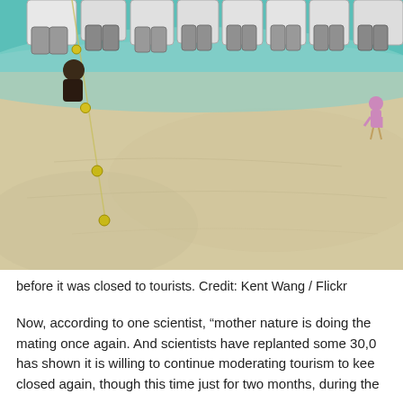[Figure (photo): Aerial or elevated view of a tropical beach with shallow turquoise water and white sand. Multiple speedboats/motorboats with outboard engines are lined up along the water's edge at the top. Yellow buoys on a rope line are visible in the water on the left. A person in a pink outfit stands in the shallow water on the right side. The beach sand is pale beige/white.]
before it was closed to tourists. Credit: Kent Wang / Flickr
Now, according to one scientist, “mother nature is doing the mating once again. And scientists have replanted some 30,0 has shown it is willing to continue moderating tourism to kee closed again, though this time just for two months, during the